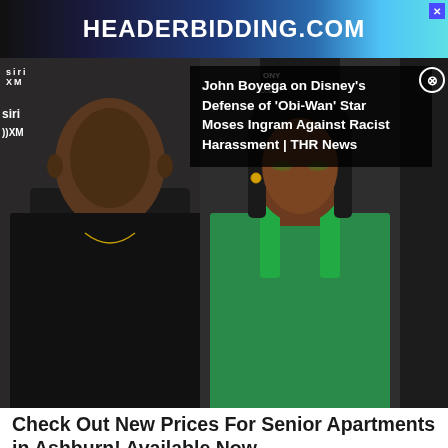[Figure (screenshot): Top banner ad for HEADERBIDDING.COM with blue gradient background and close button]
[Figure (photo): Two people (man in black and woman in green) at what appears to be a media event with Sirius XM branding visible]
John Boyega on Disney's Defense of 'Obi-Wan' Star Moses Ingram Against Racist Harassment | THR News
Check Out New Prices For Senior Apartments in Ashburn! Available Now
Senior Living | Search Ads | Sponsored
[Figure (logo): Green filter/funnel icon with close button on grey background]
[Figure (screenshot): Victoria's Secret advertisement with pink background, model photo, VS logo, 'SHOP THE COLLECTION' text, and 'SHOP NOW' button]